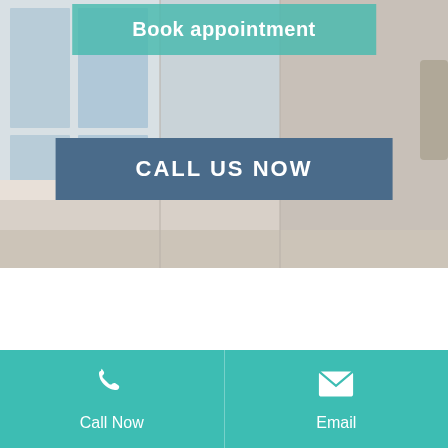[Figure (photo): Interior clinic/office room with large windows, white furniture and flooring, partially visible person on right edge. Hero banner background image.]
Book appointment
CALL US NOW
[Figure (infographic): Footer bar with two panels on teal background: left panel shows phone icon and 'Call Now', right panel shows email envelope icon and 'Email'.]